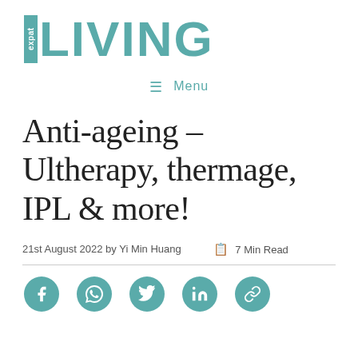[Figure (logo): Expat Living logo — teal colored logo with 'eXpat' in a vertical box and 'LIVING' in large bold teal letters]
≡ Menu
Anti-ageing – Ultherapy, thermage, IPL & more!
21st August 2022 by Yi Min Huang   📋 7 Min Read
[Figure (illustration): Row of 5 teal social media icon circles: Facebook, WhatsApp, Twitter, LinkedIn, Link/chain]